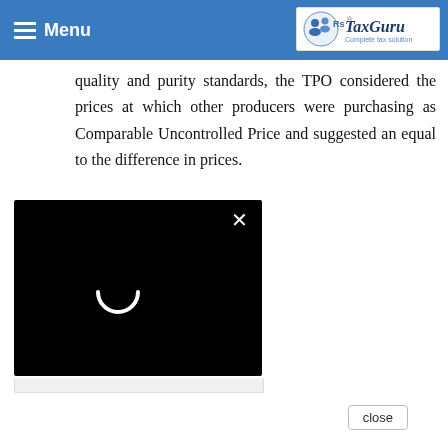Menu | TaxGuru - Complete tax solution
having regard to the nature of goods and after making certain economic adjustments and considering quality and purity standards, the TPO considered the prices at which other producers were purchasing as Comparable Uncontrolled Price and suggested an equal to the difference in prices.
[Figure (screenshot): A black loading overlay/lightbox with a white X close button in the top right corner and a white loading spinner arc in the center, shown overlaying a white content area.]
close